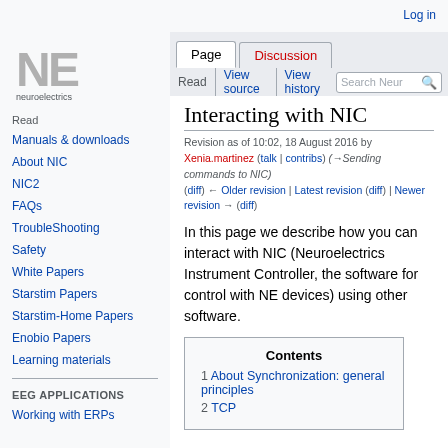Log in
[Figure (logo): Neuroelectrics NE logo with text 'neuroelectrics']
Read | View source | View history | Search Neuroelectrics
Page | Discussion
Interacting with NIC
Revision as of 10:02, 18 August 2016 by Xenia.martinez (talk | contribs) (→Sending commands to NIC) (diff) ← Older revision | Latest revision (diff) | Newer revision → (diff)
In this page we describe how you can interact with NIC (Neuroelectrics Instrument Controller, the software for control with NE devices) using other software.
Manuals & downloads
About NIC
NIC2
FAQs
TroubleShooting
Safety
White Papers
Starstim Papers
Starstim-Home Papers
Enobio Papers
Learning materials
EEG APPLICATIONS
Working with ERPs
| Contents |
| --- |
| 1 About Synchronization: general principles |
| 2 TCP |